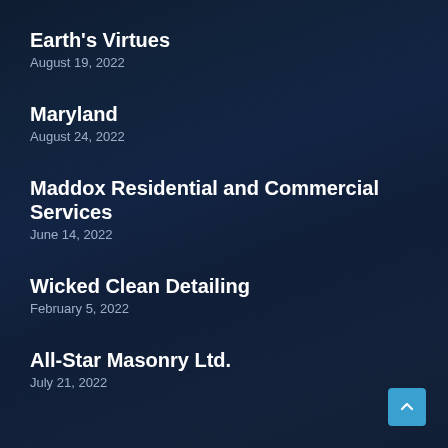Earth's Virtues
August 19, 2022
Maryland
August 24, 2022
Maddox Residential and Commercial Services
June 14, 2022
Wicked Clean Detailing
February 5, 2022
All-Star Masonry Ltd.
July 21, 2022